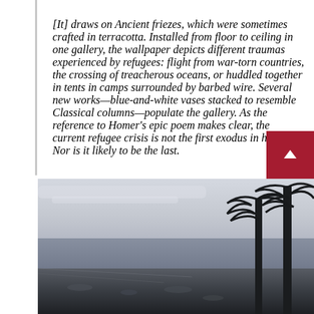[It] draws on Ancient friezes, which were sometimes crafted in terracotta. Installed from floor to ceiling in one gallery, the wallpaper depicts different traumas experienced by refugees: flight from war-torn countries, the crossing of treacherous oceans, or huddled together in tents in camps surrounded by barbed wire. Several new works—blue-and-white vases stacked to resemble Classical columns—populate the gallery. As the reference to Homer's epic poem makes clear, the current refugee crisis is not the first exodus in history. Nor is it likely to be the last.
[Figure (photo): Black and white landscape photograph showing a rocky shoreline with calm water in the background and bare or windswept trees on the right side of the image.]